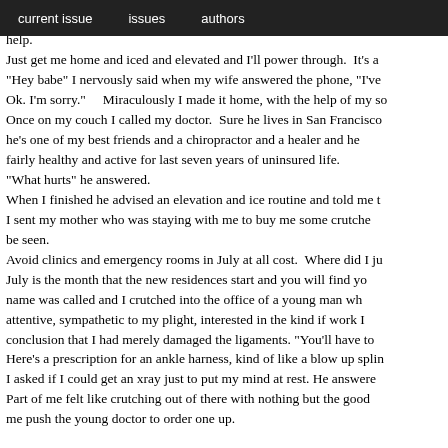current issue   issues   authors
Living without health insurance immediately adjusts the way you read about how to help.
Just get me home and iced and elevated and I'll power through.  It's a
"Hey babe" I nervously said when my wife answered the phone, "I've
Ok. I'm sorry."    Miraculously I made it home, with the help of my so
Once on my couch I called my doctor.  Sure he lives in San Francisco
he's one of my best friends and a chiropractor and a healer and he
fairly healthy and active for last seven years of uninsured life.
"What hurts" he answered.
When I finished he advised an elevation and ice routine and told me t
I sent my mother who was staying with me to buy me some crutche
be seen.
Avoid clinics and emergency rooms in July at all cost.  Where did I ju
July is the month that the new residences start and you will find yo
name was called and I crutched into the office of a young man wh
attentive, sympathetic to my plight, interested in the kind if work I
conclusion that I had merely damaged the ligaments. "You'll have to
Here's a prescription for an ankle harness, kind of like a blow up splin
I asked if I could get an xray just to put my mind at rest. He answere
Part of me felt like crutching out of there with nothing but the good
me push the young doctor to order one up.